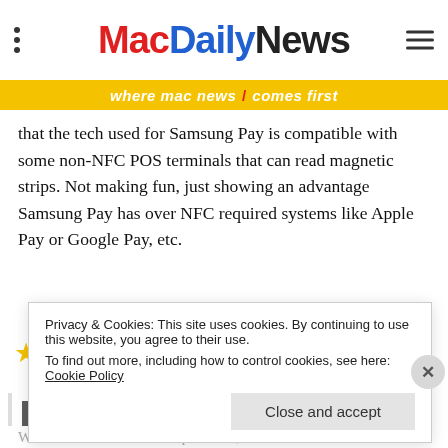MacDailyNews — where mac news comes first
that the tech used for Samsung Pay is compatible with some non-NFC POS terminals that can read magnetic strips. Not making fun, just showing an advantage Samsung Pay has over NFC required systems like Apple Pay or Google Pay, etc.
3 Votes   Reply
Backlash
Monday, October 26, 2015 at 7:15 pm
Privacy & Cookies: This site uses cookies. By continuing to use this website, you agree to their use.
To find out more, including how to control cookies, see here: Cookie Policy
Close and accept
Well oct 1st was for the chip readers, the contactless